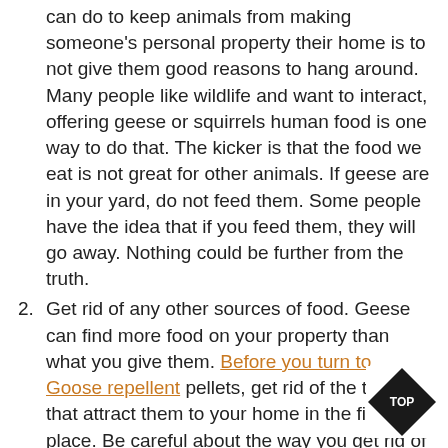can do to keep animals from making someone's personal property their home is to not give them good reasons to hang around. Many people like wildlife and want to interact, offering geese or squirrels human food is one way to do that. The kicker is that the food we eat is not great for other animals. If geese are in your yard, do not feed them. Some people have the idea that if you feed them, they will go away. Nothing could be further from the truth.
Get rid of any other sources of food. Geese can find more food on your property than what you give them. Before you turn to Goose repellent pellets, get rid of the things that attract them to your home in the first place. Be careful about the way you get rid of your trash. Before it is going to be picked up, keep it in a place where the geese cannot reach it. There are some kinds of grass that geese like to eat so you may want to replace yours, too.